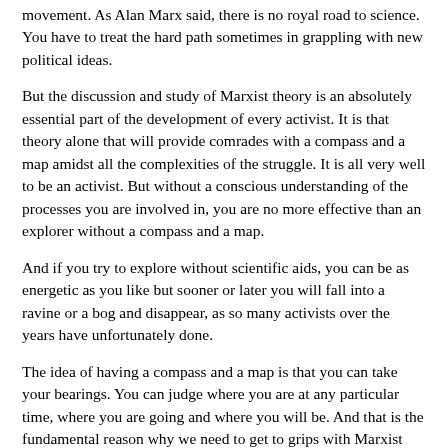movement. As Alan Marx said, there is no royal road to science. You have to treat the hard path sometimes in grappling with new political ideas.
But the discussion and study of Marxist theory is an absolutely essential part of the development of every activist. It is that theory alone that will provide comrades with a compass and a map amidst all the complexities of the struggle. It is all very well to be an activist. But without a conscious understanding of the processes you are involved in, you are no more effective than an explorer without a compass and a map.
And if you try to explore without scientific aids, you can be as energetic as you like but sooner or later you will fall into a ravine or a bog and disappear, as so many activists over the years have unfortunately done.
The idea of having a compass and a map is that you can take your bearings. You can judge where you are at any particular time, where you are going and where you will be. And that is the fundamental reason why we need to get to grips with Marxist theory. It provides us with an absolutely invaluable guide to action as far as our activities in the labour movement are concerned.